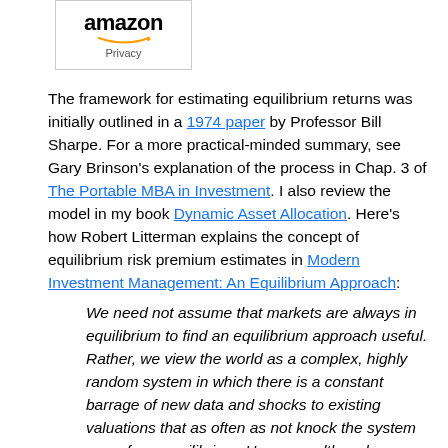[Figure (logo): Amazon logo with smile and Privacy label in a bordered box]
The framework for estimating equilibrium returns was initially outlined in a 1974 paper by Professor Bill Sharpe. For a more practical-minded summary, see Gary Brinson's explanation of the process in Chap. 3 of The Portable MBA in Investment. I also review the model in my book Dynamic Asset Allocation. Here's how Robert Litterman explains the concept of equilibrium risk premium estimates in Modern Investment Management: An Equilibrium Approach:
We need not assume that markets are always in equilibrium to find an equilibrium approach useful. Rather, we view the world as a complex, highly random system in which there is a constant barrage of new data and shocks to existing valuations that as often as not knock the system away from equilibrium. However, although we anticipate that these shocks constantly create deviations from equilibrium in financial markets, and we